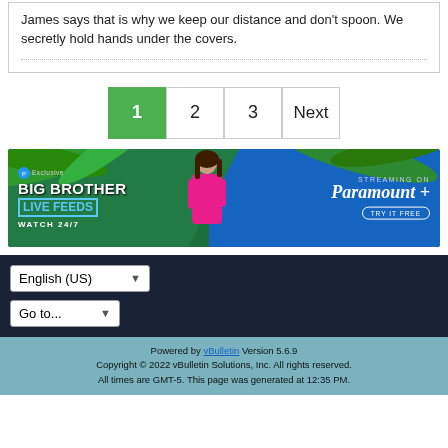James says that is why we keep our distance and don't spoon. We secretly hold hands under the covers.
[Figure (infographic): Big Brother Live Feeds advertisement banner — Streaming on Paramount+, Watch 24/7, Try It Free]
Pagination: 1 (active), 2, 3, Next
[Figure (screenshot): Language selector dropdown showing English (US) and Go to... navigation dropdown]
Powered by vBulletin Version 5.6.9
Copyright © 2022 vBulletin Solutions, Inc. All rights reserved.
All times are GMT-5. This page was generated at 12:35 PM.